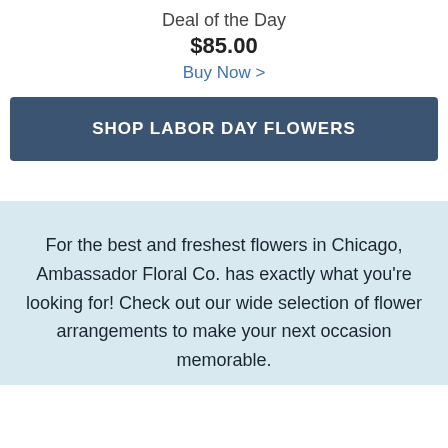Deal of the Day
$85.00
Buy Now >
SHOP LABOR DAY FLOWERS
For the best and freshest flowers in Chicago, Ambassador Floral Co. has exactly what you're looking for! Check out our wide selection of flower arrangements to make your next occasion memorable.